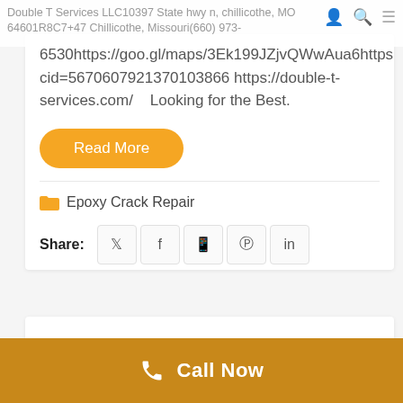Double T Services LLC10397 State hwy n, chillicothe, MO 64601R8C7+47 Chillicothe, Missouri(660) 973-6530https://goo.gl/maps/3Ek199JZjvQWwAua6https://www...cid=5670607921370103866 https://double-t-services.com/    Looking for the Best.
Double T Services LLC10397 State hwy n, chillicothe, MO 64601R8C7+47 Chillicothe, Missouri(660) 973-6530https://goo.gl/maps/3Ek199JZjvQWwAua6https://www...cid=5670607921370103866 https://double-t-services.com/    Looking for the Best.
Read More
Epoxy Crack Repair
Share:
Call Now